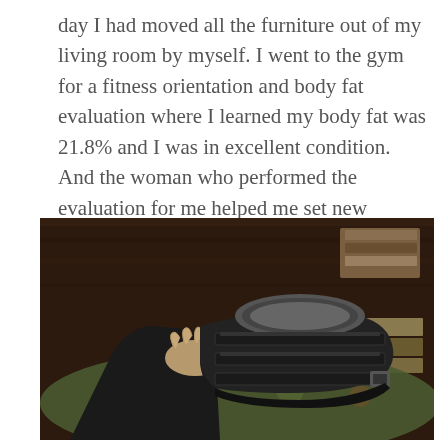day I had moved all the furniture out of my living room by myself. I went to the gym for a fitness orientation and body fat evaluation where I learned my body fat was 21.8% and I was in excellent condition. And the woman who performed the evaluation for me helped me set new weight increments and design a new routine for my winter goals. And I came home and broke my ankle.
[Figure (photo): A photo of a person's leg/foot wearing a black orthopedic walking boot/cast, resting on what appears to be a floral-patterned surface or ottoman. Books are visible in the background on a wooden surface.]